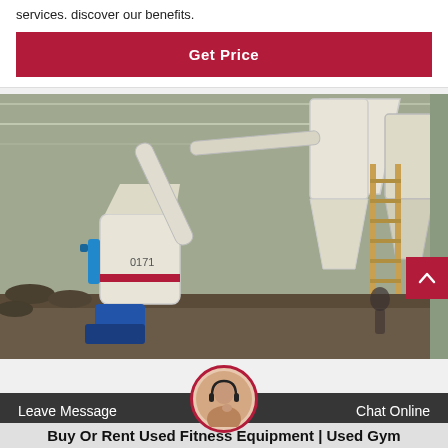services. discover our benefits.
Get Price
[Figure (photo): Industrial grinding mill machine with cyclone separator and ladder in an outdoor facility]
Leave Message
Chat Online
Buy Or Rent Used Fitness Equipment | Used Gym